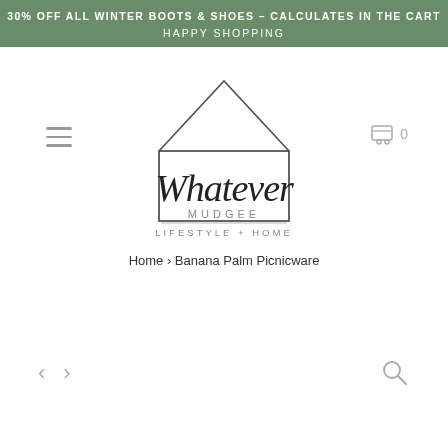30% OFF ALL WINTER BOOTS & SHOES – CALCULATES IN THE CART
HAPPY SHOPPING
[Figure (logo): Whatever Mudgee Lifestyle + Home logo with house outline and script text]
Home › Banana Palm Picnicware